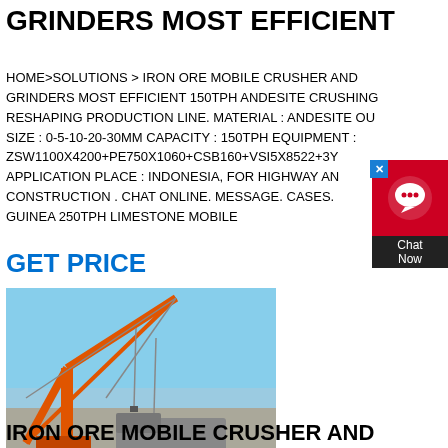GRINDERS MOST EFFICIENT
HOME>SOLUTIONS > IRON ORE MOBILE CRUSHER AND GRINDERS MOST EFFICIENT 150TPH ANDESITE CRUSHING RESHAPING PRODUCTION LINE. MATERIAL : ANDESITE OUTPUT SIZE : 0-5-10-20-30MM CAPACITY : 150TPH EQUIPMENT : ZSW1100X4200+PE750X1060+CSB160+VSI5X8522+3Y APPLICATION PLACE : INDONESIA, FOR HIGHWAY AND ROAD CONSTRUCTION . CHAT ONLINE. MESSAGE. CASES. PAPUA NEW GUINEA 250TPH LIMESTONE MOBILE
GET PRICE
[Figure (photo): Construction/industrial site photo showing an orange crane structure on a port or industrial area, with a large truck/vehicle and open sky background.]
IRON ORE MOBILE CRUSHER AND